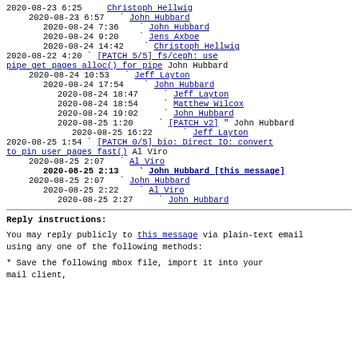2020-08-23  6:25    Christoph Hellwig
2020-08-23  6:57      John Hubbard
2020-08-24  7:36        John Hubbard
2020-08-24  9:20        Jens Axboe
2020-08-24 14:42        Christoph Hellwig
2020-08-22  4:20  [PATCH 5/5] fs/ceph: use pipe get pages alloc() for pipe  John Hubbard
2020-08-24 10:53      Jeff Layton
2020-08-24 17:54        John Hubbard
2020-08-24 18:47          Jeff Layton
2020-08-24 18:54          Matthew Wilcox
2020-08-24 19:02          John Hubbard
2020-08-25  1:20          [PATCH v2]  John Hubbard
2020-08-25 16:22            Jeff Layton
2020-08-25  1:54  [PATCH 0/5] bio: Direct IO: convert to pin user pages fast()  Al Viro
2020-08-25  2:07      Al Viro
2020-08-25  2:13        John Hubbard [this message]
2020-08-25  2:07      John Hubbard
2020-08-25  2:22        Al Viro
2020-08-25  2:27          John Hubbard
Reply instructions:
You may reply publicly to this message via plain-text email
using any one of the following methods:
* Save the following mbox file, import it into your mail client,